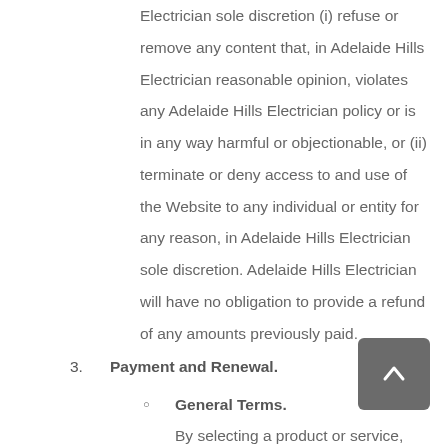Electrician sole discretion (i) refuse or remove any content that, in Adelaide Hills Electrician reasonable opinion, violates any Adelaide Hills Electrician policy or is in any way harmful or objectionable, or (ii) terminate or deny access to and use of the Website to any individual or entity for any reason, in Adelaide Hills Electrician sole discretion. Adelaide Hills Electrician will have no obligation to provide a refund of any amounts previously paid.
3. Payment and Renewal.
General Terms.
By selecting a product or service, you agree